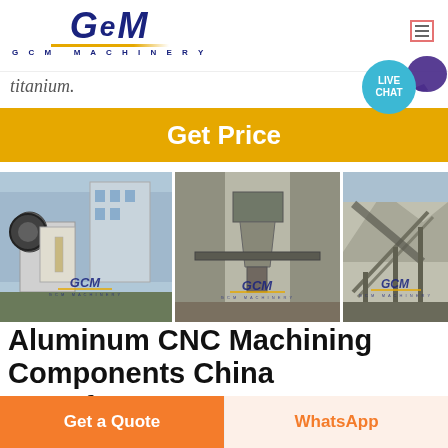[Figure (logo): GCM Machinery logo with blue italic GCM text and gold underline]
titanium.
Get Price
[Figure (photo): Three photos of GCM mining/crushing machinery equipment in industrial settings, each watermarked with GCM logo]
Aluminum CNC Machining Components China Manufacturer
We have powerful manufacturing capability, our
Get a Quote
WhatsApp